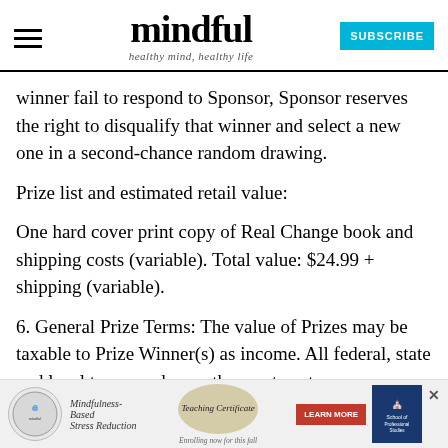mindful — healthy mind, healthy life — SUBSCRIBE
winner fail to respond to Sponsor, Sponsor reserves the right to disqualify that winner and select a new one in a second-chance random drawing.
Prize list and estimated retail value:
One hard cover print copy of Real Change book and shipping costs (variable). Total value: $24.99 + shipping (variable).
6. General Prize Terms: The value of Prizes may be taxable to Prize Winner(s) as income. All federal, state and local taxes, and any other costs not
[Figure (infographic): Advertisement banner for Mindfulness-Based Stress Reduction Teaching Certificate program, with circular logo on left, oval with Teaching Certificate text in center, a red Learn More button, and a School of Professional Studies logo on right with an X close button.]